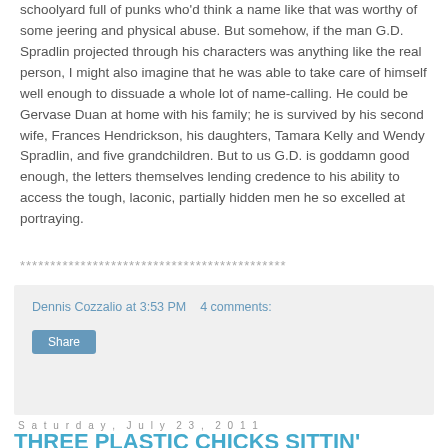schoolyard full of punks who'd think a name like that was worthy of some jeering and physical abuse. But somehow, if the man G.D. Spradlin projected through his characters was anything like the real person, I might also imagine that he was able to take care of himself well enough to dissuade a whole lot of name-calling. He could be Gervase Duan at home with his family; he is survived by his second wife, Frances Hendrickson, his daughters, Tamara Kelly and Wendy Spradlin, and five grandchildren. But to us G.D. is goddamn good enough, the letters themselves lending credence to his ability to access the tough, laconic, partially hidden men he so excelled at portraying.
********************************************
Dennis Cozzalio at 3:53 PM   4 comments:
Share
Saturday, July 23, 2011
THREE PLASTIC CHICKS SITTIN'